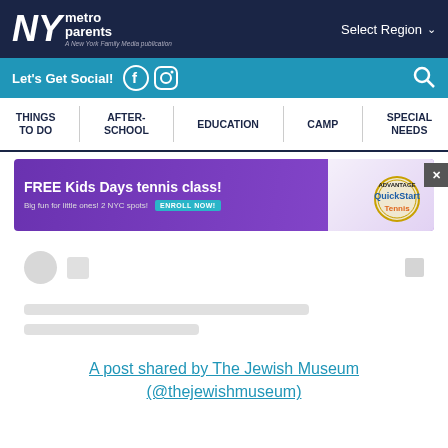NY metro parents — A New York Family Media publication | Select Region
Let's Get Social!
THINGS TO DO | AFTER-SCHOOL | EDUCATION | CAMP | SPECIAL NEEDS
[Figure (other): Advertisement banner: FREE Kids Days tennis class! Big fun for little ones! 2 NYC spots! ENROLL NOW! Advantage QuickStart Tennis]
A post shared by The Jewish Museum (@thejewishmuseum)